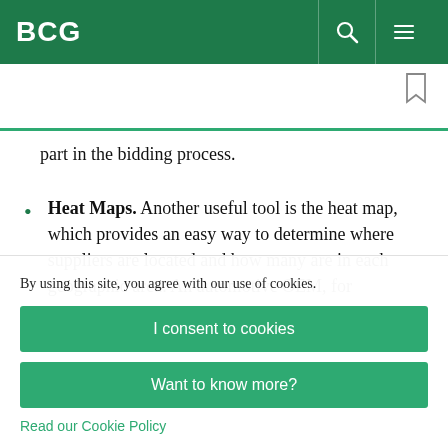BCG
part in the bidding process.
Heat Maps. Another useful tool is the heat map, which provides an easy way to determine where suppliers are located and how many are in each geographic area. An automotive OEM, for
By using this site, you agree with our use of cookies.
I consent to cookies
Want to know more?
Read our Cookie Policy